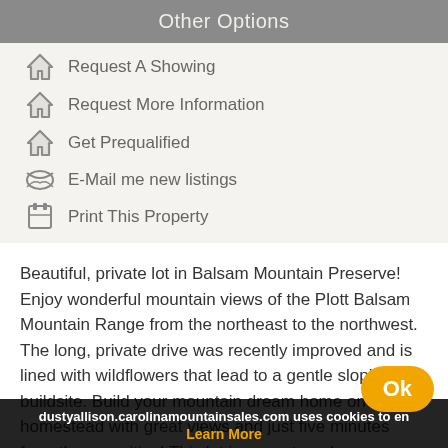Other Options
Request A Showing
Request More Information
Get Prequalified
E-Mail me new listings
Print This Property
Beautiful, private lot in Balsam Mountain Preserve! Enjoy wonderful mountain views of the Plott Balsam Mountain Range from the northeast to the northwest. The long, private drive was recently improved and is lined with wildflowers that lead to a gentle sloping buildsite. Build your mountain dream home on this homestead with great views and just five minutes from the amenities! This lot is a must-see!
dustyallison.carolinamountainsales.com uses cookies to en
Learn More